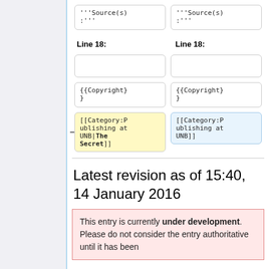[Figure (screenshot): Wikipedia diff view showing two columns with code boxes. Left column shows wiki markup including '''Source(s):''', {{Copyright}}, and [[Category:Publishing at UNB|The Secret]] highlighted in yellow. Right column shows same markup with [[Category:Publishing at UNB]] highlighted in blue. Both columns have 'Line 18:' labels.]
Latest revision as of 15:40, 14 January 2016
This entry is currently under development. Please do not consider the entry authoritative until it has been